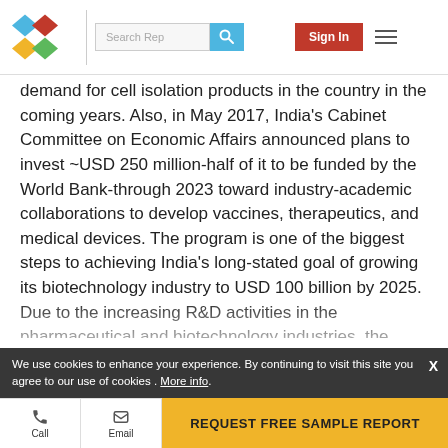Search Rep | Sign In | [Menu]
demand for cell isolation products in the country in the coming years. Also, in May 2017, India’s Cabinet Committee on Economic Affairs announced plans to invest ~USD 250 million-half of it to be funded by the World Bank-through 2023 toward industry-academic collaborations to develop vaccines, therapeutics, and medical devices. The program is one of the biggest steps to achieving India’s long-stated goal of growing its biotechnology industry to USD 100 billion by 2025. Due to the increasing R&D activities in the pharmaceutical and biotechnology industries, the adoption of several advanced equipment and methodologies is expected to increase in the country with the aim of increasing productivity. [cost of cell-based research (partially obscured)]
We use cookies to enhance your experience. By continuing to visit this site you agree to our use of cookies . More info.
Call | Email | REQUEST FREE SAMPLE REPORT